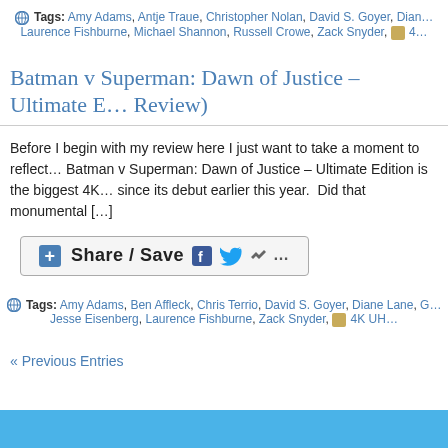Tags: Amy Adams, Antje Traue, Christopher Nolan, David S. Goyer, Dian… Laurence Fishburne, Michael Shannon, Russell Crowe, Zack Snyder, 4…
Batman v Superman: Dawn of Justice – Ultimate E… Review)
Before I begin with my review here I just want to take a moment to reflect… Batman v Superman: Dawn of Justice – Ultimate Edition is the biggest 4K… since its debut earlier this year.  Did that monumental […]
[Figure (other): Share / Save social sharing button with Facebook, Twitter and more icons]
Tags: Amy Adams, Ben Affleck, Chris Terrio, David S. Goyer, Diane Lane, G… Jesse Eisenberg, Laurence Fishburne, Zack Snyder, 4K UH…
« Previous Entries